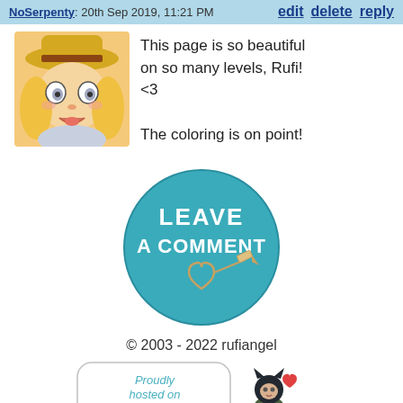NoSerpenty: 20th Sep 2019, 11:21 PM — edit delete reply
[Figure (illustration): Cartoon avatar of a blonde girl with a yellow hat and purple top, drawn in a comic style]
This page is so beautiful on so many levels, Rufi! <3

The coloring is on point!
[Figure (illustration): Teal circle button with white text 'LEAVE A COMMENT' and a heart with a pen/pencil icon below]
© 2003 - 2022 rufiangel
[Figure (illustration): ComicFury proudly hosted banner with text 'Proudly hosted on ComicFury!' and a small cat-girl mascot with a heart]